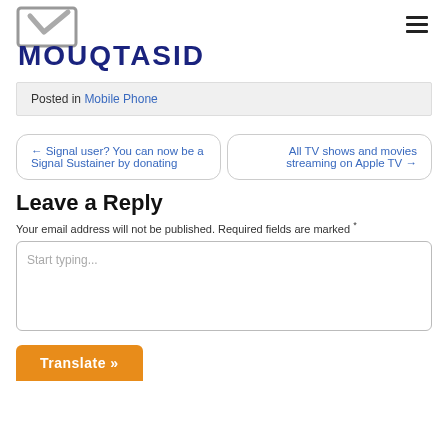[Figure (logo): Mouqtasid website logo with envelope icon and bold navy text MOUQTASID]
Posted in Mobile Phone
← Signal user? You can now be a Signal Sustainer by donating
All TV shows and movies streaming on Apple TV →
Leave a Reply
Your email address will not be published. Required fields are marked *
Start typing...
Translate »